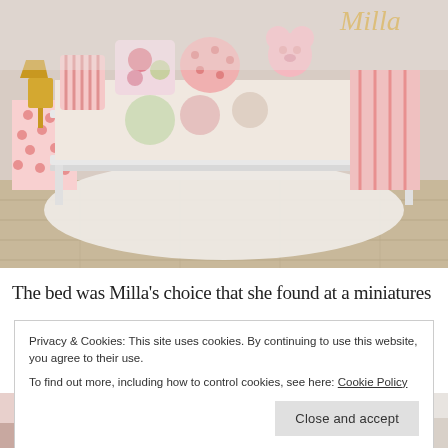[Figure (photo): A white ornate metal daybed/bed with pink and floral pillows, a pink stuffed animal bear, striped and floral fabric, on a white fluffy rug. Pink polka dot side table visible on the left with a gold lamp. A name sign in gold cursive visible top right.]
The bed was Milla's choice that she found at a miniatures
Privacy & Cookies: This site uses cookies. By continuing to use this website, you agree to their use.
To find out more, including how to control cookies, see here: Cookie Policy
Close and accept
[Figure (photo): Bottom strip showing two partial photos of miniature room scenes with pink/floral elements.]